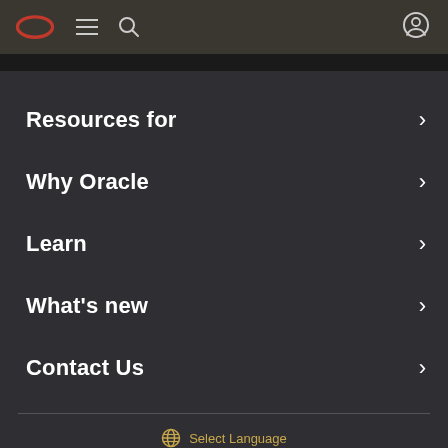Oracle navigation header with logo, hamburger menu, search, and user icons
Resources for
Why Oracle
Learn
What's new
Contact Us
Select Language